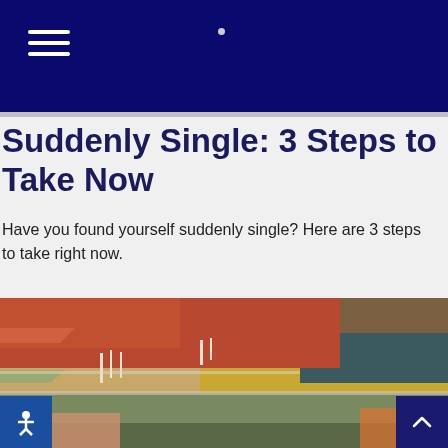Navigation bar with hamburger menu
Suddenly Single: 3 Steps to Take Now
Have you found yourself suddenly single? Here are 3 steps to take right now.
[Figure (photo): Stack of colorful file folders and binders filled with documents, viewed from the side]